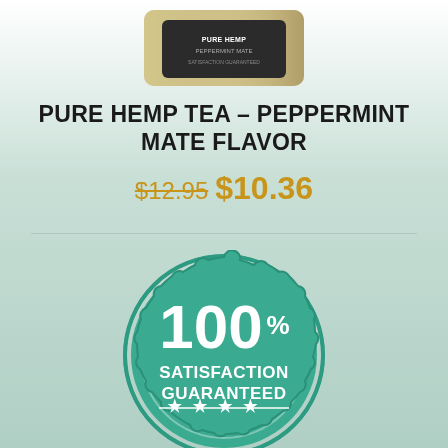[Figure (photo): Top portion of a product jar with dark label, partially visible at top of page]
PURE HEMP TEA – PEPPERMINT MATE FLAVOR
$12.95 $10.36
[Figure (illustration): 100% Satisfaction Guaranteed badge/seal in teal green with stars at bottom]